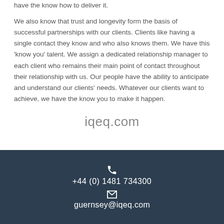have the know how to deliver it.
We also know that trust and longevity form the basis of successful partnerships with our clients. Clients like having a single contact they know and who also knows them. We have this ‘know you’ talent. We assign a dedicated relationship manager to each client who remains their main point of contact throughout their relationship with us. Our people have the ability to anticipate and understand our clients’ needs. Whatever our clients want to achieve, we have the know you to make it happen.
iqeq.com
+44 (0) 1481 734300
guernsey@iqeq.com